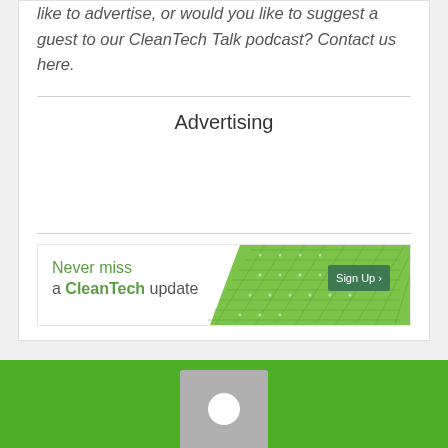like to advertise, or would you like to suggest a guest to our CleanTech Talk podcast? Contact us here.
Advertising
[Figure (infographic): CleanTech newsletter signup banner with solar panel imagery and 'Sign Up' button. Text: Never miss a CleanTech update. Sign Up >]
[Figure (photo): Green section at bottom with a grey profile placeholder image with white circle, on a bright green background]